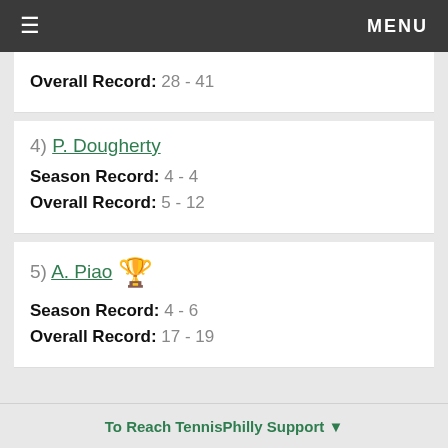≡  MENU
Overall Record:  28 - 41
4) P. Dougherty
Season Record:  4 - 4
Overall Record:  5 - 12
5) A. Piao 🏆
Season Record:  4 - 6
Overall Record:  17 - 19
To Reach TennisPhilly Support ▼